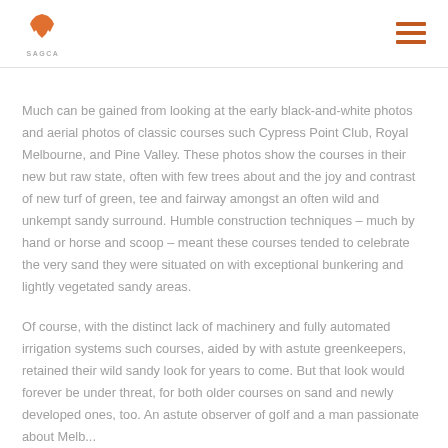SAGCA logo and navigation menu
Much can be gained from looking at the early black-and-white photos and aerial photos of classic courses such Cypress Point Club, Royal Melbourne, and Pine Valley. These photos show the courses in their new but raw state, often with few trees about and the joy and contrast of new turf of green, tee and fairway amongst an often wild and unkempt sandy surround. Humble construction techniques – much by hand or horse and scoop – meant these courses tended to celebrate the very sand they were situated on with exceptional bunkering and lightly vegetated sandy areas.
Of course, with the distinct lack of machinery and fully automated irrigation systems such courses, aided by with astute greenkeepers, retained their wild sandy look for years to come. But that look would forever be under threat, for both older courses on sand and newly developed ones, too. An astute observer of golf and a man passionate about Melbourne's Sandbelt was Ken Peter Th...